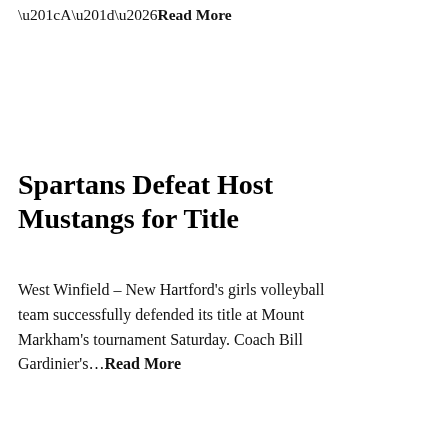“A”…Read More
Spartans Defeat Host Mustangs for Title
West Winfield – New Hartford’s girls volleyball team successfully defended its title at Mount Markham’s tournament Saturday. Coach Bill Gardinier’s…Read More